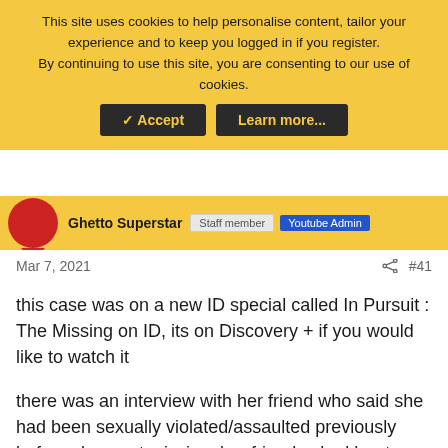This site uses cookies to help personalise content, tailor your experience and to keep you logged in if you register. By continuing to use this site, you are consenting to our use of cookies.
✓ Accept | Learn more...
Ghetto Superstar  Staff member  Youtube Admin
Mar 7, 2021  #41
this case was on a new ID special called In Pursuit : The Missing on ID, its on Discovery + if you would like to watch it
there was an interview with her friend who said she had been sexually violated/assaulted previously before she went missing, her friend asked her to report the assault to police but she did not want to re-live the assault and chose not to report it to police, the subject was never brought up again between Sophie and her friend